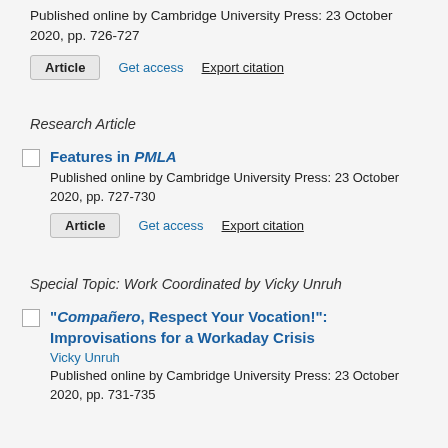Published online by Cambridge University Press: 23 October 2020, pp. 726-727
Article   Get access   Export citation
Research Article
Features in PMLA
Published online by Cambridge University Press: 23 October 2020, pp. 727-730
Article   Get access   Export citation
Special Topic: Work Coordinated by Vicky Unruh
"Compañero, Respect Your Vocation!": Improvisations for a Workaday Crisis
Vicky Unruh
Published online by Cambridge University Press: 23 October 2020, pp. 731-735